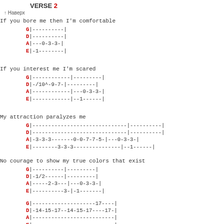VERSE 2
↑ Наверх
If you bore me then I'm comfortable
G|----------|\nD|----------|\nA|---0-3-3-|\nE|-1--------|
If you interest me I'm scared
G|------------|---------|\nD|-/10^-9-7-|---------|\nA|------------|---0-3-3-|\nE|------------|--1------|
My attraction paralyzes me
G|------------------------------|----------|\nD|------------------------------|----------|\nA|-3-3-3-------0-0-7-7-5-|---0-3-3-|\nE|--------3-3-3---------------|--1------|
No courage to show my true colors that exist
G|----------|---------|\nD|-1/2------|---------|\nA|-----2-3---|---0-3-3-|\nE|----------3-|-1-------|
G|--------------------17----|\nD|-14-15-17--14-15-17----17-|\nA|--------------------------|\nE|--------------------------|